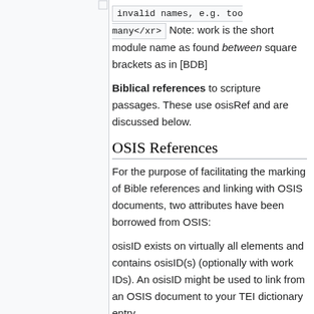invalid names, e.g. too many</xr> Note: work is the short module name as found between square brackets as in [BDB]
Biblical references to scripture passages. These use osisRef and are discussed below.
OSIS References
For the purpose of facilitating the marking of Bible references and linking with OSIS documents, two attributes have been borrowed from OSIS:
osisID exists on virtually all elements and contains osisID(s) (optionally with work IDs). An osisID might be used to link from an OSIS document to your TEI dictionary entry.